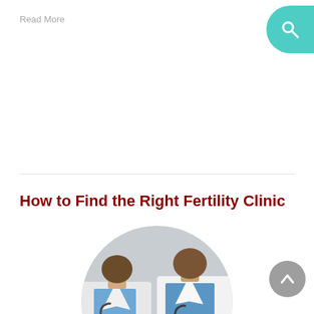Read More
How to Find the Right Fertility Clinic
[Figure (photo): Circular cropped photo of two doctors in white lab coats with stethoscopes, arms crossed, viewed from neck to waist]